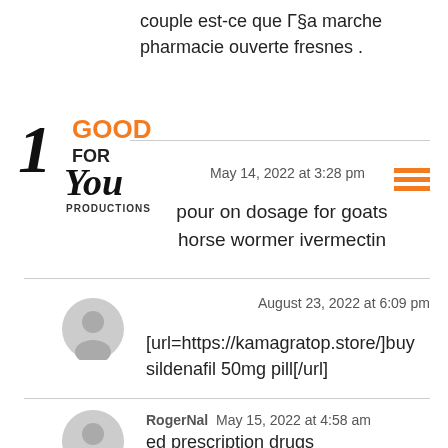couple est-ce que Γ§a marche pharmacie ouverte fresnes .
[Figure (logo): Good For You Productions logo with script and orange text]
May 14, 2022 at 3:28 pm
pour on dosage for goats horse wormer ivermectin
August 23, 2022 at 6:09 pm
[url=https://kamagratop.store/]buy sildenafil 50mg pill[/url]
RogerNal  May 15, 2022 at 4:58 am
ed prescription drugs